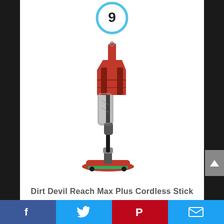[Figure (other): Blue circle badge with number 9 inside]
[Figure (photo): Dirt Devil Reach Max Plus Cordless Stick vacuum cleaner, red and black, standing upright]
Dirt Devil Reach Max Plus Cordless Stick
[Figure (infographic): Social sharing bar with Facebook, Twitter, Pinterest, and Email buttons]